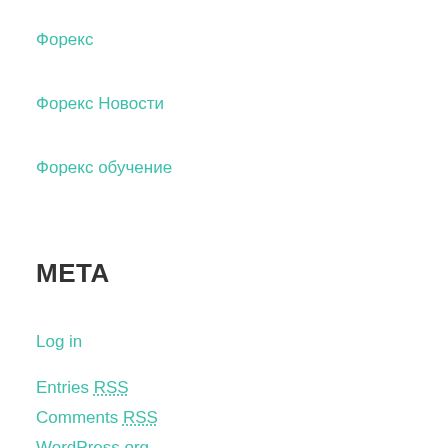Форекс
Форекс Новости
Форекс обучение
META
Log in
Entries RSS
Comments RSS
WordPress.org